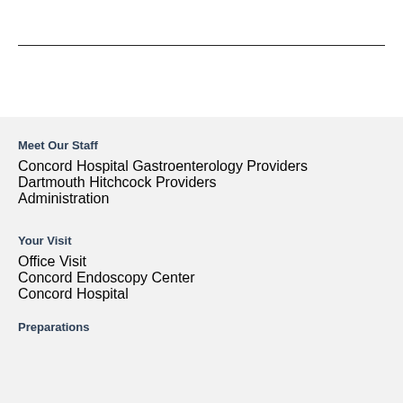Meet Our Staff
Concord Hospital Gastroenterology Providers
Dartmouth Hitchcock Providers
Administration
Your Visit
Office Visit
Concord Endoscopy Center
Concord Hospital
Preparations